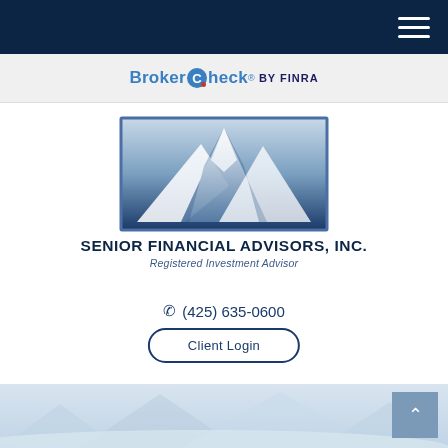BrokerCheck by FINRA
[Figure (logo): Senior Financial Advisors, Inc. logo — three overlapping mountain peaks in blue/white tones inside a rectangular border]
SENIOR FINANCIAL ADVISORS, INC.
Registered Investment Advisor
(425) 635-0600
Client Login